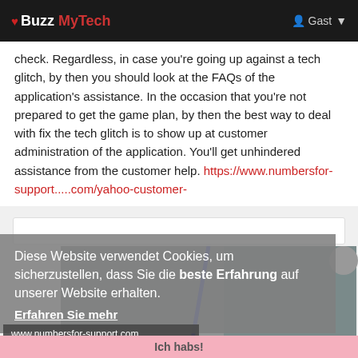❤ Buzz MyTech   Gast ▾
check. Regardless, in case you're going up against a tech glitch, by then you should look at the FAQs of the application's assistance. In the occasion that you're not prepared to get the game plan, by then the best way to deal with fix the tech glitch is to show up at customer administration of the application. You'll get unhindered assistance from the customer help. https://www.numbersfor-support.....com/yahoo-customer-
[Figure (screenshot): Cookie consent overlay and advertisement image showing a woman using a laptop. Overlay text in German: 'Diese Website verwendet Cookies, um sicherzustellen, dass Sie die beste Erfahrung auf unserer Website erhalten. Erfahren Sie mehr'. Ad shows 'CUSTOMER SERVICE NUMBER' and 'GET 24/7 SUPPORT'. URL bar shows 'www.numbersfor-support.com'. Button 'Ich habs!']
Yahoo Customer Service +1-888-900-5259 Phone